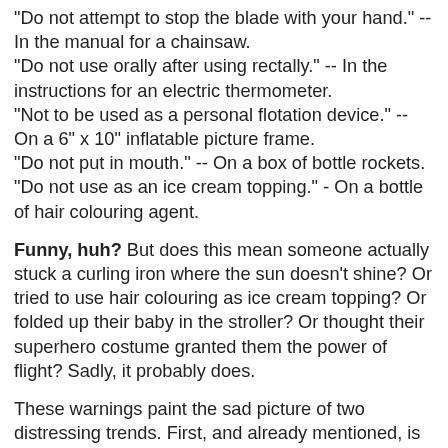"Do not attempt to stop the blade with your hand." -- In the manual for a chainsaw.
"Do not use orally after using rectally." -- In the instructions for an electric thermometer.
"Not to be used as a personal flotation device." -- On a 6" x 10" inflatable picture frame.
"Do not put in mouth." -- On a box of bottle rockets.
"Do not use as an ice cream topping." - On a bottle of hair colouring agent.
Funny, huh? But does this mean someone actually stuck a curling iron where the sun doesn't shine? Or tried to use hair colouring as ice cream topping? Or folded up their baby in the stroller? Or thought their superhero costume granted them the power of flight? Sadly, it probably does.
These warnings paint the sad picture of two distressing trends. First, and already mentioned, is our steady migration toward a condition of intellectual insipidness. Second is the growing tendency to sue others for our own stupidity. That's the fundamental reason these labels exist - to keep people from being able to cash in on their lack of common